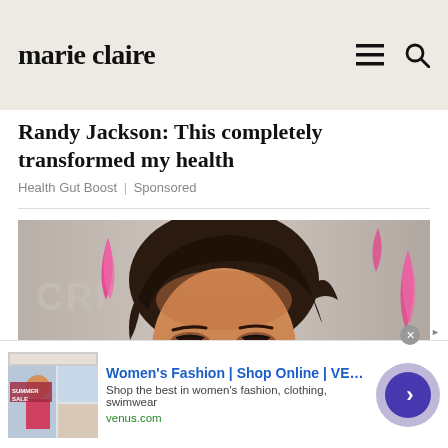marie claire
Randy Jackson: This completely transformed my health
Health Gut Boost | Sponsored
[Figure (photo): Close-up portrait of a dark-haired woman wearing dangling crystal earrings at a BCRF (Breast Cancer Research Foundation) event. Pink ribbon logo visible in background.]
Women's Fashion | Shop Online | VENUS
Shop the best in women's fashion, clothing, swimwear
venus.com